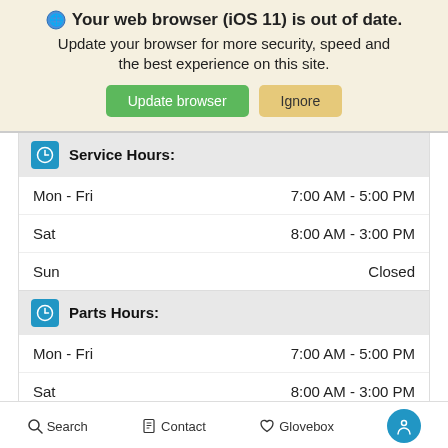🌐 Your web browser (iOS 11) is out of date. Update your browser for more security, speed and the best experience on this site. Update browser | Ignore
| Service Hours: |  |
| --- | --- |
| Mon - Fri | 7:00 AM - 5:00 PM |
| Sat | 8:00 AM - 3:00 PM |
| Sun | Closed |
| Parts Hours: |  |
| --- | --- |
| Mon - Fri | 7:00 AM - 5:00 PM |
| Sat | 8:00 AM - 3:00 PM |
| Sun | Closed |
Schedule Service
Honda Certified Service Is As Practical As Ever
Search | Contact | Glovebox | Accessibility